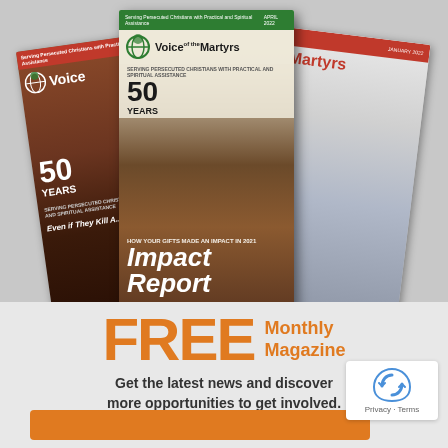[Figure (photo): Three Voice of the Martyrs magazine covers fanned out. Center cover shows a person carrying a large yellow bundle on their head, with '50 Years' and 'Impact Report' text. Left cover shows a person in warm tones with '50 Years' and 'Even if They Kill'. Right cover shows a woman in blue with 'Martyrs' text.]
FREE Monthly Magazine
Get the latest news and discover more opportunities to get involved.
[Figure (logo): Google reCAPTCHA badge with Privacy and Terms links]